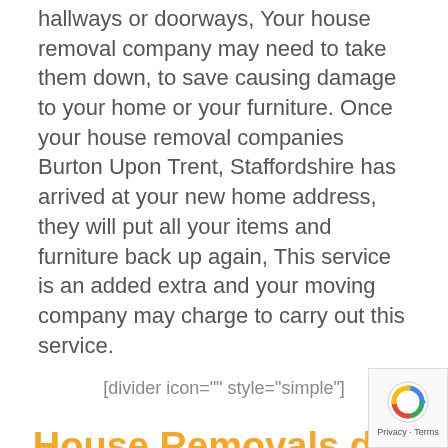hallways or doorways, Your house removal company may need to take them down, to save causing damage to your home or your furniture. Once your house removal companies Burton Upon Trent, Staffordshire has arrived at your new home address, they will put all your items and furniture back up again, This service is an added extra and your moving company may charge to carry out this service.
[divider icon="" style="simple"]
House Removals day
On the day of your move, your house removal